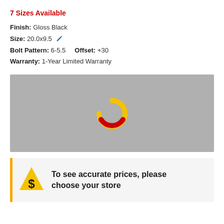7 Sizes Available
Finish: Gloss Black
Size: 20.0x9.5
Bolt Pattern: 6-5.5    Offset: +30
Warranty: 1-Year Limited Warranty
[Figure (other): Loading spinner graphic — yellow and red circular spinner on gray background]
To see accurate prices, please choose your store